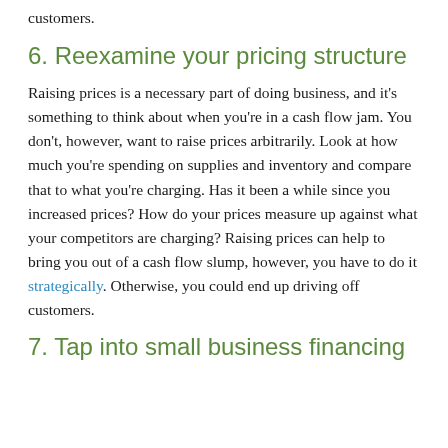customers.
6. Reexamine your pricing structure
Raising prices is a necessary part of doing business, and it's something to think about when you're in a cash flow jam. You don't, however, want to raise prices arbitrarily. Look at how much you're spending on supplies and inventory and compare that to what you're charging. Has it been a while since you increased prices? How do your prices measure up against what your competitors are charging? Raising prices can help to bring you out of a cash flow slump, however, you have to do it strategically. Otherwise, you could end up driving off customers.
7. Tap into small business financing